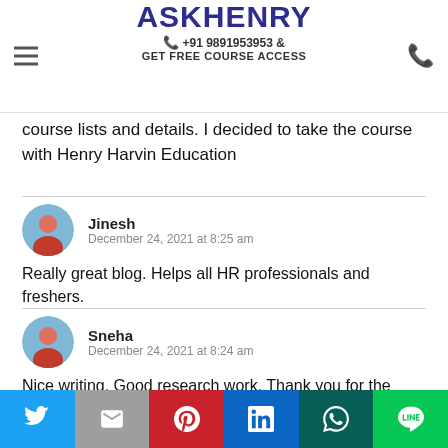ASKHENRY +91 9891953953 & GET FREE COURSE ACCESS
course lists and details. I decided to take the course with Henry Harvin Education
Jinesh
December 24, 2021 at 8:25 am
Really great blog. Helps all HR professionals and freshers.
Sneha
December 24, 2021 at 8:24 am
Nice writing. Good research work. Thank you for the details.
Darshan Singh
December 6, 2021 at 1:31 pm